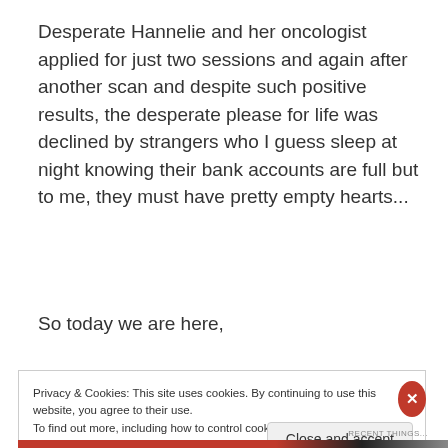Desperate Hannelie and her oncologist applied for just two sessions and again after another scan and despite such positive results, the desperate please for life was declined by strangers who I guess sleep at night knowing their bank accounts are full but to me, they must have pretty empty hearts...
So today we are here,
Privacy & Cookies: This site uses cookies. By continuing to use this website, you agree to their use.
To find out more, including how to control cookies, see here: Cookie Policy
Close and accept